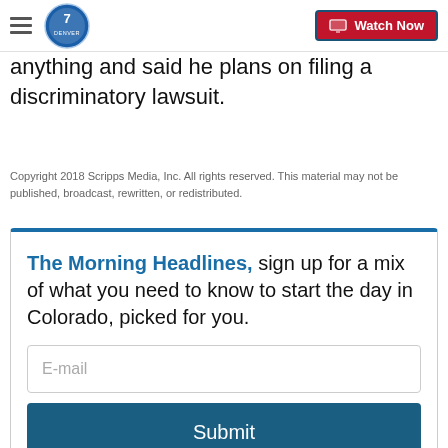Denver7 — Watch Now
anything and said he plans on filing a discriminatory lawsuit.
Copyright 2018 Scripps Media, Inc. All rights reserved. This material may not be published, broadcast, rewritten, or redistributed.
The Morning Headlines, sign up for a mix of what you need to know to start the day in Colorado, picked for you.
E-mail
Submit